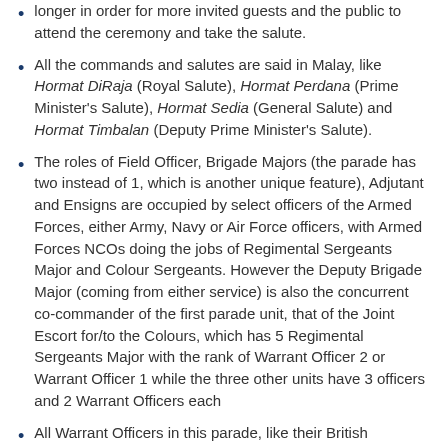longer in order for more invited guests and the public to attend the ceremony and take the salute.
All the commands and salutes are said in Malay, like Hormat DiRaja (Royal Salute), Hormat Perdana (Prime Minister's Salute), Hormat Sedia (General Salute) and Hormat Timbalan (Deputy Prime Minister's Salute).
The roles of Field Officer, Brigade Majors (the parade has two instead of 1, which is another unique feature), Adjutant and Ensigns are occupied by select officers of the Armed Forces, either Army, Navy or Air Force officers, with Armed Forces NCOs doing the jobs of Regimental Sergeants Major and Colour Sergeants. However the Deputy Brigade Major (coming from either service) is also the concurrent co-commander of the first parade unit, that of the Joint Escort for/to the Colours, which has 5 Regimental Sergeants Major with the rank of Warrant Officer 2 or Warrant Officer 1 while the three other units have 3 officers and 2 Warrant Officers each
All Warrant Officers in this parade, like their British counterparts, carry pace sticks but the WOs of No.1 Guard Company (Composite) throw them to the Orderlies during the Trooping